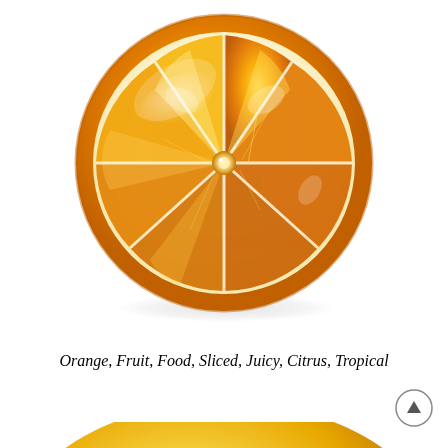[Figure (illustration): A detailed illustration of a sliced orange (cross-section), showing juicy segments, white pith ring, orange peel, glossy highlights, and a soft shadow beneath it on a white background.]
Orange, Fruit, Food, Sliced, Juicy, Citrus, Tropical
[Figure (illustration): The top portion of a whole orange or yellow-orange ball/fruit, partially cropped at the bottom of the page, showing a gradient from yellow-orange to white highlight at center.]